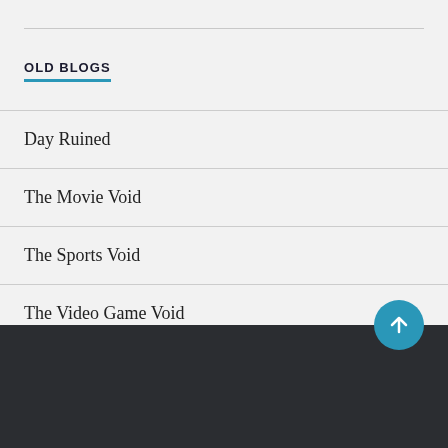OLD BLOGS
Day Ruined
The Movie Void
The Sports Void
The Video Game Void
© 2022 NOTHING MATTERS
BLOG AT WORDPRESS.COM.